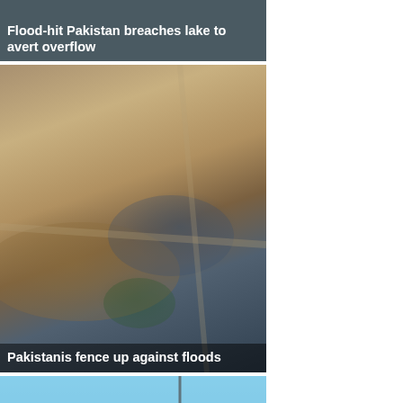[Figure (photo): Aerial flood photo of Pakistan — partial view cropped at top with headline overlay]
Flood-hit Pakistan breaches lake to avert overflow
[Figure (photo): Aerial view of flooded Pakistani city with brown floodwaters surrounding dense urban area]
Pakistanis fence up against floods
[Figure (photo): Ground-level view of Pakistan flood waters, people seen from behind looking at submerged buildings]
'Burning with pain': Pakistan floods threaten major health crisis
[Figure (photo): Aerial view of flooded Pakistani city, partial image at bottom of page]